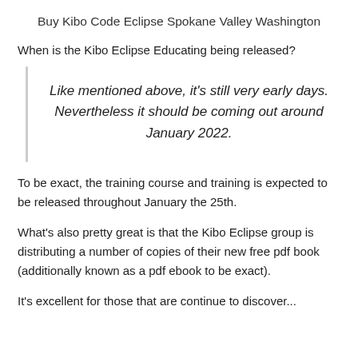Buy Kibo Code Eclipse Spokane Valley Washington
When is the Kibo Eclipse Educating being released?
Like mentioned above, it's still very early days. Nevertheless it should be coming out around January 2022.
To be exact, the training course and training is expected to be released throughout January the 25th.
What's also pretty great is that the Kibo Eclipse group is distributing a number of copies of their new free pdf book (additionally known as a pdf ebook to be exact).
It's excellent for those that are continue to discover...